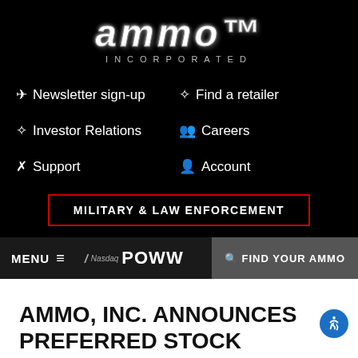[Figure (logo): AMMO Incorporated logo - stylized white metallic text on black background with 'INCORPORATED' below]
Newsletter sign-up
Find a retailer
Investor Relations
Careers
Support
Account
MILITARY & LAW ENFORCEMENT
MENU  Nasdaq POWW  FIND YOUR AMMO
AMMO, INC. ANNOUNCES PREFERRED STOCK DIVIDEND
Posted in News